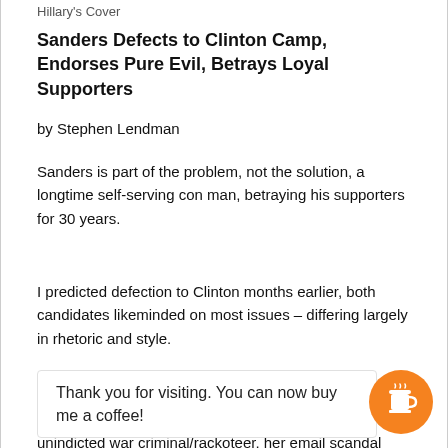Hillary's Cover
Sanders Defects to Clinton Camp, Endorses Pure Evil, Betrays Loyal Supporters
by Stephen Lendman
Sanders is part of the problem, not the solution, a longtime self-serving con man, betraying his supporters for 30 years.
I predicted defection to Clinton months earlier, both candidates likeminded on most issues – differing largely in rhetoric and style.
Thank you for visiting. You can now buy me a coffee!
devin, unindicted war criminal/rackoteer, her email scandal